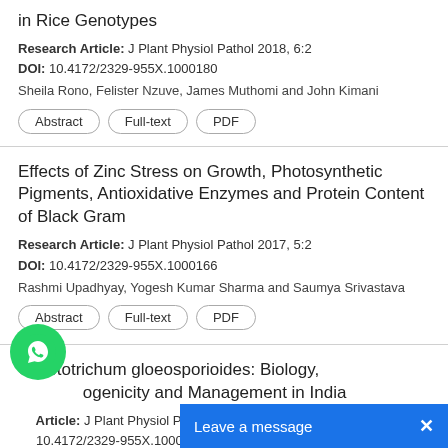in Rice Genotypes
Research Article: J Plant Physiol Pathol 2018, 6:2
DOI: 10.4172/2329-955X.1000180
Sheila Rono, Felister Nzuve, James Muthomi and John Kimani
Abstract | Full-text | PDF
Effects of Zinc Stress on Growth, Photosynthetic Pigments, Antioxidative Enzymes and Protein Content of Black Gram
Research Article: J Plant Physiol Pathol 2017, 5:2
DOI: 10.4172/2329-955X.1000166
Rashmi Upadhyay, Yogesh Kumar Sharma and Saumya Srivastava
Abstract | Full-text | PDF
Colletotrichum gloeosporioides: Biology, Pathogenicity and Management in India
Article: J Plant Physiol Pathol 2014, 2:2
DOI: 10.4172/2329-955X.1000125
Ajay Kumar Gautam